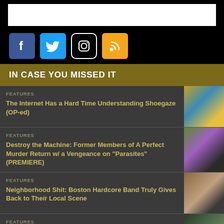[Figure (infographic): Social media icons: Facebook (blue), Twitter (blue), Instagram (black outline), RSS (orange)]
IN CASE YOU MISSED IT
FEATURES — The Internet Has a Hard Time Understanding Shoegaze (OP-ed)
FEATURES — Destroy the Machine: Former Members of A Perfect Murder Return w/ a Vengeance on "Parasites" (PREMIERE)
FEATURES — Neighborhood Shit: Boston Hardcore Band Truly Gives Back to Their Local Scene
FEATURES — KIND!: Boston Hardcore Outfit's New Release Calls for Personal Healing, Opposition to Hate
FEATURES